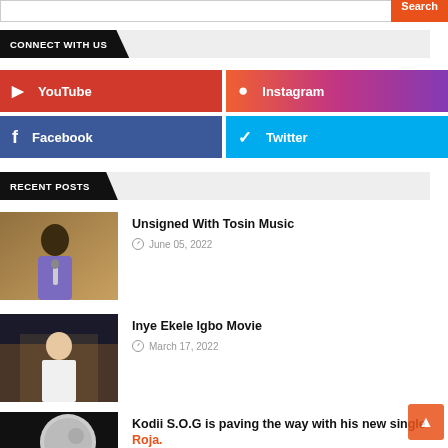CONNECT WITH US
[Figure (other): YouTube social button (red background with YouTube icon)]
[Figure (other): Instagram social button (gradient orange-purple background with Instagram icon)]
[Figure (other): Facebook social button (blue background with Facebook icon)]
[Figure (other): Twitter social button (cyan background with Twitter bird icon)]
RECENT POSTS
[Figure (photo): Thumbnail of a man singing, warm brown tones]
Unsigned With Tosin Music
June 05, 2022
[Figure (photo): Thumbnail of a woman singing in a white top]
Inye Ekele Igbo Movie
March 17, 2022
[Figure (photo): Thumbnail with moon and light beam, black and white tones]
Kodii S.O.G is paving the way with his new single Roja.
March 14, 2022